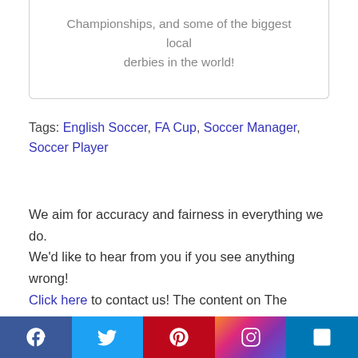Championships, and some of the biggest local derbies in the world!
Tags: English Soccer, FA Cup, Soccer Manager, Soccer Player
We aim for accuracy and fairness in everything we do. We'd like to hear from you if you see anything wrong! Click here to contact us! The content on The History Of Soccer is reviewed and updated regularly to make sure it is accurate and up to date.
← Previous   Next Post →
[Figure (infographic): Social media share bar with icons for Facebook, Twitter, Pinterest, Instagram, and LinkedIn]